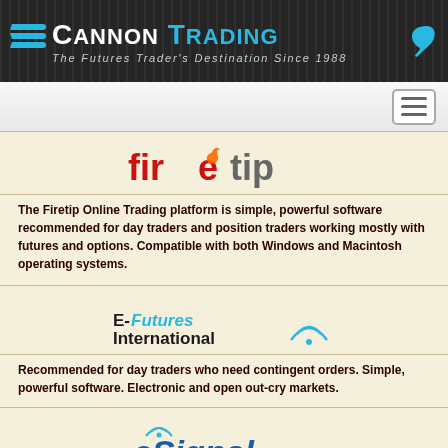Cannon Trading — The Futures Trader's Destination Since 1988
[Figure (logo): Firetip logo — stylized text with red 'fire' and grey 'tip']
The Firetip Online Trading platform is simple, powerful software recommended for day traders and position traders working mostly with futures and options. Compatible with both Windows and Macintosh operating systems.
[Figure (logo): E-Futures International logo with wireless signal icon]
Recommended for day traders who need contingent orders. Simple, powerful software. Electronic and open out-cry markets.
[Figure (logo): eSignal logo in blue with wireless signal arc]
Recommended for individual and professional traders in need of advanced analytics.